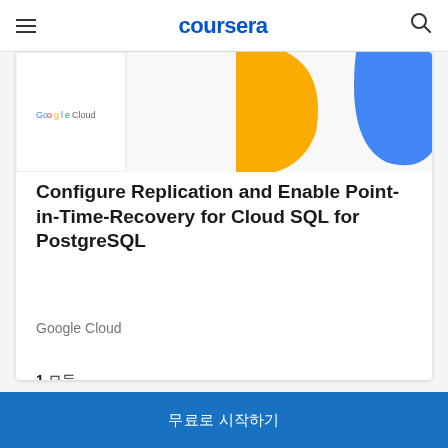coursera
[Figure (screenshot): Coursera course card showing a Google Cloud branded course image with yellow and blue abstract shapes on white background with Google Cloud logo]
Configure Replication and Enable Point-in-Time-Recovery for Cloud SQL for PostgreSQL
Google Cloud
1 모듈
무료로 시작하기